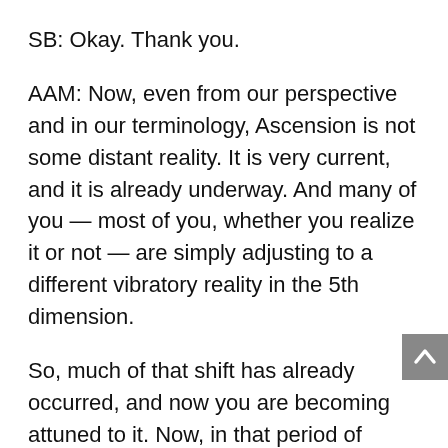SB: Okay. Thank you.
AAM: Now, even from our perspective and in our terminology, Ascension is not some distant reality. It is very current, and it is already underway. And many of you — most of you, whether you realize it or not — are simply adjusting to a different vibratory reality in the 5th dimension.
So, much of that shift has already occurred, and now you are becoming attuned to it. Now, in that period of becoming attuned to it you are also experiencing... and that is why I have begun this day by inviting each of you, my beloved brothers and sisters and friends, you who have